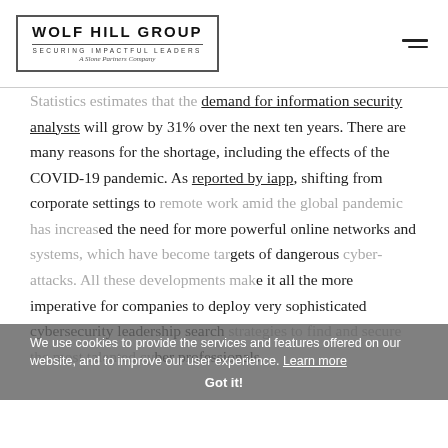[Figure (logo): Wolf Hill Group logo — 'WOLF HILL GROUP' in bold caps, 'SECURING IMPACTFUL LEADERS', 'A Slone Partners Company' in italic, inside a rectangular border]
Statistics estimates that the demand for information security analysts will grow by 31% over the next ten years. There are many reasons for the shortage, including the effects of the COVID-19 pandemic. As reported by iapp, shifting from corporate settings to remote work amid the global pandemic has increased the need for more powerful online networks and systems, which have become targets of dangerous cyber-attacks. All these developments make it all the more imperative for companies to deploy very sophisticated cybersecurity leadership search strategies to find and secure the most talented cyber professionals.
We use cookies to provide the services and features offered on our website, and to improve our user experience. Learn more